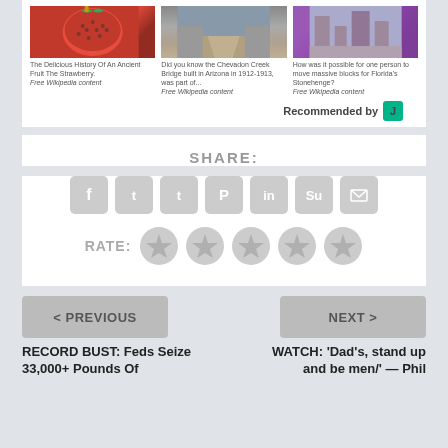[Figure (photo): Three article thumbnails: strawberry image, bridge image (Chevadon Creek Bridge), and stone ruins image]
The Delicious History Of An Ancient Fruit The Strawberry. Free Wikipedia content
Did you know the Chevadon Creek Bridge built in Arizona in 1912-1913, was part of... Free Wikipedia content
How was it possible for one person to move massive blocks for Florida's Stonehenge? Free Wikipedia content
Recommended by J
SHARE:
[Figure (infographic): Social share icons: Facebook, Twitter, Tumblr, Pinterest, LinkedIn, StumbleUpon, Email]
RATE:
[Figure (infographic): Five star rating circles (all empty/grey)]
< PREVIOUS
NEXT >
RECORD BUST: Feds Seize 33,000+ Pounds Of
WATCH: 'Dad's, stand up and be men/' — Phil